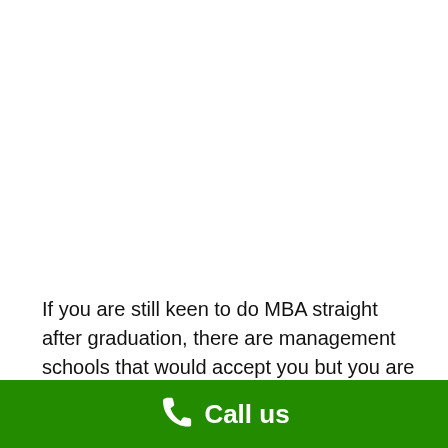If you are still keen to do MBA straight after graduation, there are management schools that would accept you but you are limiting your choices.
Work experience not only helps you learn more from
[Figure (other): Green footer bar with a white phone/call icon and 'Call us' text in white]